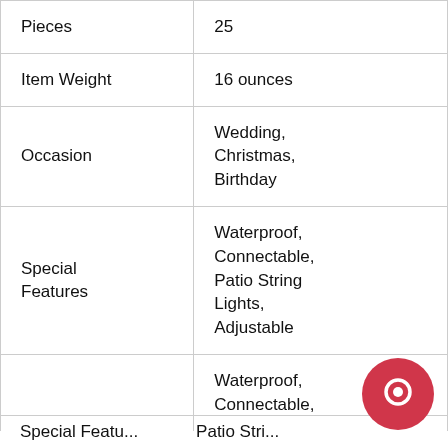| Pieces | 25 |
| Item Weight | 16 ounces |
| Occasion | Wedding, Christmas, Birthday |
| Special Features | Waterproof, Connectable, Patio String Lights, Adjustable |
| Special Features | Waterproof, Connectable, Patio Stri... |